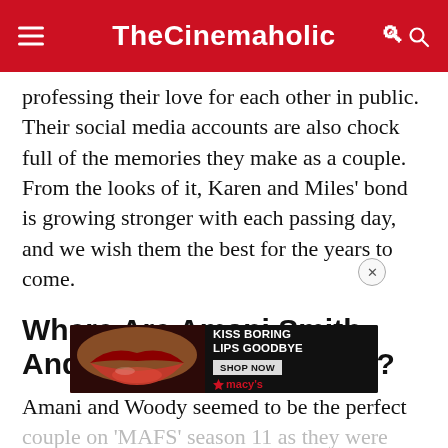TheCinemaholic
professing their love for each other in public. Their social media accounts are also chock full of the memories they make as a couple. From the looks of it, Karen and Miles' bond is growing stronger with each passing day, and we wish them the best for the years to come.
Where Are Amani Smith And Woody Randall Now?
Amani and Woody seemed to be the perfect couple on 'MAFS' season 11 as they were whole... from the start. They portrayed a huge level of
[Figure (other): Advertisement banner for Macy's lipstick product: 'KISS BORING LIPS GOODBYE' with SHOP NOW button and Macy's logo]